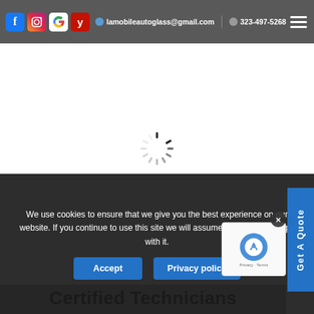lamobileautoglass@gmail.com  323-497-5268
[Figure (illustration): Loading spinner (circular dashed spinner icon) centered in white content area]
[Figure (other): Get A Quote vertical sidebar button on right side]
We use cookies to ensure that we give you the best experience on our website. If you continue to use this site we will assume that you are happy with it.
Accept   Privacy policy
[Figure (other): reCAPTCHA widget with Google logo, Privacy and Terms text]
Certified Technicians